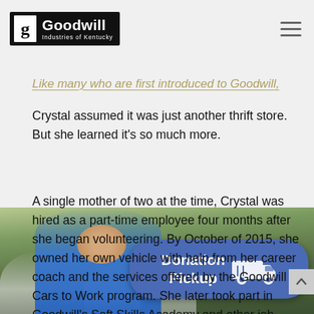Goodwill Industries of Kentucky
(KT AR) six and a half years ago.
Like many who are first introduced to Goodwill, Crystal assumed it was just another thrift store. But she learned it’s so much more.
A single mother of two at the time, Crystal was hired as a part-time employee four months after she began volunteering. By October of 2015, she owned her own vehicle with help from her career coach and the services offered by the Goodwill Cars to Work program. She later took part in Goodwill’s Soft Skills Academy and other job-readiness programs, too.
[Figure (photo): A woman in a blue shirt smiling in a parking lot with cars and trees in the background. A Donation Pickup button overlay is visible.]